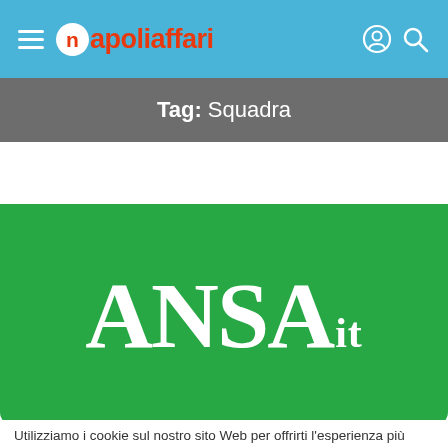napoliaffari
Tag: Squadra
[Figure (logo): ANSAit logo — white serif bold text on green rounded rectangle background]
Utilizziamo i cookie sul nostro sito Web per offrirti l'esperienza più pertinente ricordando le tue preferenze e le visite ripetute